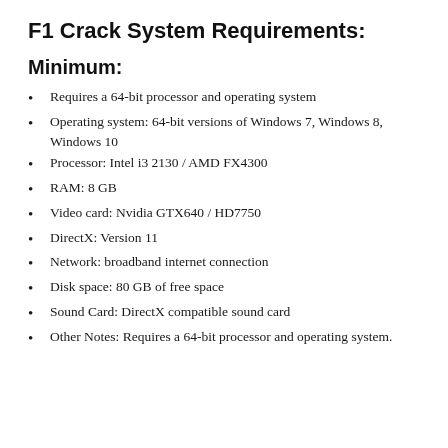F1 Crack System Requirements:
Minimum:
Requires a 64-bit processor and operating system
Operating system: 64-bit versions of Windows 7, Windows 8, Windows 10
Processor: Intel i3 2130 / AMD FX4300
RAM: 8 GB
Video card: Nvidia GTX640 / HD7750
DirectX: Version 11
Network: broadband internet connection
Disk space: 80 GB of free space
Sound Card: DirectX compatible sound card
Other Notes: Requires a 64-bit processor and operating system.